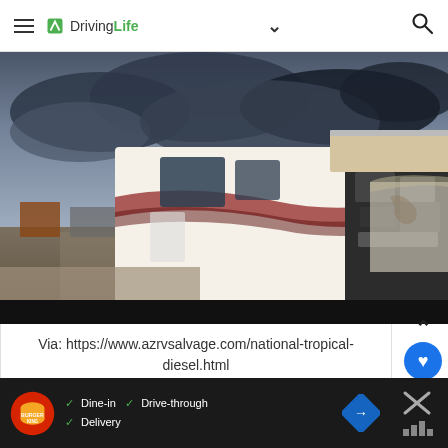DrivingLife
[Figure (photo): Damaged RV motorhome with front end exposed showing engine components, parked in a salvage yard with overcast stormy sky. Other vehicles visible in background.]
Via: https://www.azrvsalvage.com/national-tropical-diesel.html
[Figure (other): Burger King advertisement banner with Dine-in, Drive-through, Delivery options and navigation arrow icon]